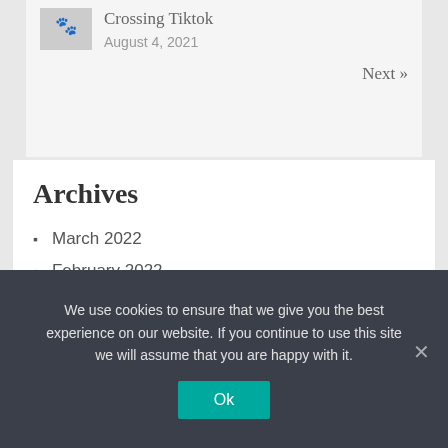Crossing Tiktok
August 4, 2021
Next »
Archives
March 2022
February 2022
January 2022
December 2021
November 2021
October 2021
We use cookies to ensure that we give you the best experience on our website. If you continue to use this site we will assume that you are happy with it.
Ok